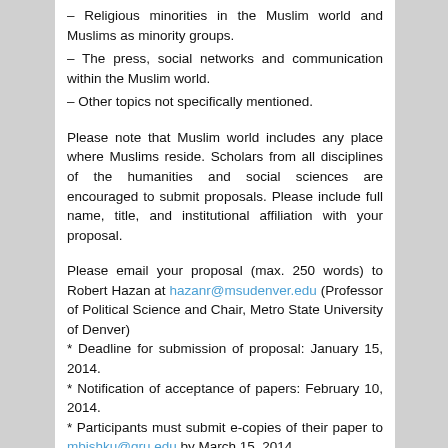– Religious minorities in the Muslim world and Muslims as minority groups.
– The press, social networks and communication within the Muslim world.
– Other topics not specifically mentioned.
Please note that Muslim world includes any place where Muslims reside. Scholars from all disciplines of the humanities and social sciences are encouraged to submit proposals. Please include full name, title, and institutional affiliation with your proposal.
Please email your proposal (max. 250 words) to Robert Hazan at hazanr@msudenver.edu (Professor of Political Science and Chair, Metro State University of Denver)
* Deadline for submission of proposal: January 15, 2014.
* Notification of acceptance of papers: February 10, 2014.
* Participants must submit e-copies of their paper to mbishku@gru.edu by March 15, 2014.
Michael B. Bishku (Professor of History, Georgia Regents University)
* Participants must register for the conference at